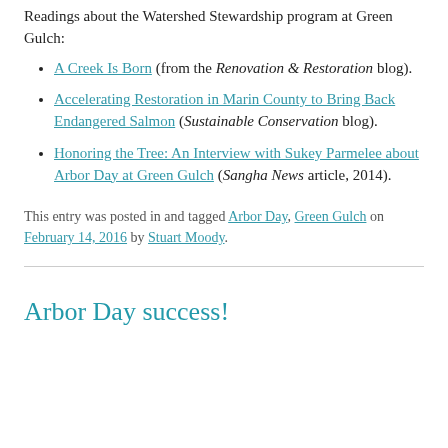Readings about the Watershed Stewardship program at Green Gulch:
A Creek Is Born (from the Renovation & Restoration blog).
Accelerating Restoration in Marin County to Bring Back Endangered Salmon (Sustainable Conservation blog).
Honoring the Tree: An Interview with Sukey Parmelee about Arbor Day at Green Gulch (Sangha News article, 2014).
This entry was posted in and tagged Arbor Day, Green Gulch on February 14, 2016 by Stuart Moody.
Arbor Day success!